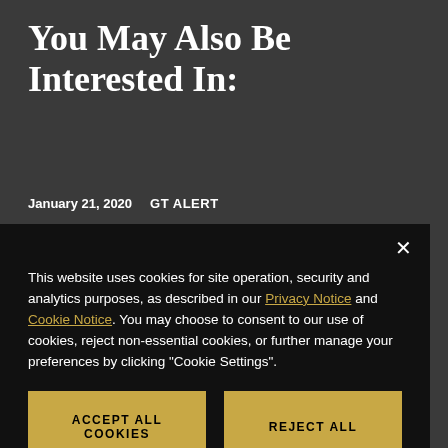You May Also Be Interested In:
January 21, 2020   GT ALERT
This website uses cookies for site operation, security and analytics purposes, as described in our Privacy Notice and Cookie Notice. You may choose to consent to our use of cookies, reject non-essential cookies, or further manage your preferences by clicking "Cookie Settings".
Accept All Cookies
Reject All
Cookie Settings